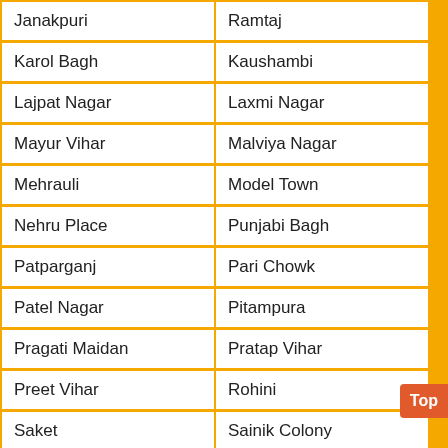| Janakpuri | Ramtaj |
| Karol Bagh | Kaushambi |
| Lajpat Nagar | Laxmi Nagar |
| Mayur Vihar | Malviya Nagar |
| Mehrauli | Model Town |
| Nehru Place | Punjabi Bagh |
| Patparganj | Pari Chowk |
| Patel Nagar | Pitampura |
| Pragati Maidan | Pratap Vihar |
| Preet Vihar | Rohini |
| Saket | Sainik Colony |
| Safdarjung | Shahdara |
| Sector-22 | sector-47 |
| Sector-49 | Sector-50 |
| Sector-54 | Sector-62 |
| Sector-76 | Sector-77 |
| Sector-78 | Sector-87 |